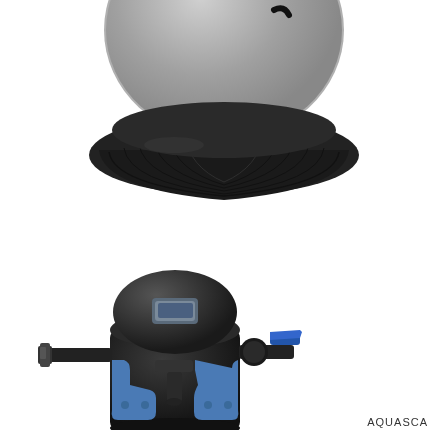[Figure (photo): Close-up photo of the bottom/base of a gray spherical sand filter tank with a wide black ribbed plastic base/skirt, viewed from below-front angle on white background.]
[Figure (photo): Photo of a black cylindrical pond pressure filter unit with blue plastic bracket handles on the sides, black top dome with control panel, a blue lever ball valve on the right side, and hose barb fittings on the left, viewed from the front on white background.]
AQUASCA